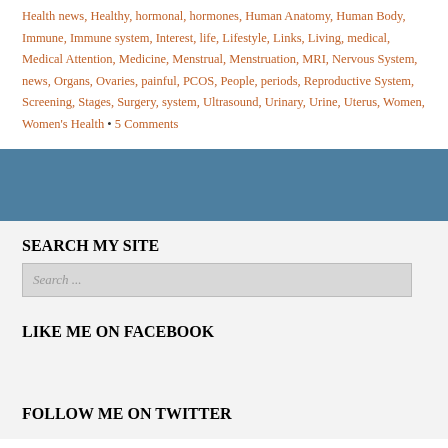Health news, Healthy, hormonal, hormones, Human Anatomy, Human Body, Immune, Immune system, Interest, life, Lifestyle, Links, Living, medical, Medical Attention, Medicine, Menstrual, Menstruation, MRI, Nervous System, news, Organs, Ovaries, painful, PCOS, People, periods, Reproductive System, Screening, Stages, Surgery, system, Ultrasound, Urinary, Urine, Uterus, Women, Women's Health • 5 Comments
[Figure (other): Blue decorative banner divider]
SEARCH MY SITE
Search ...
LIKE ME ON FACEBOOK
FOLLOW ME ON TWITTER